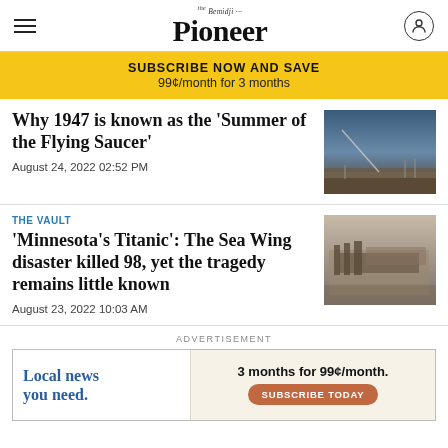the Bemidji Pioneer
SUBSCRIBE NOW AND SAVE
99¢/month for 3 months
Why 1947 is known as the 'Summer of the Flying Saucer'
August 24, 2022 02:52 PM
THE VAULT
'Minnesota's Titanic': The Sea Wing disaster killed 98, yet the tragedy remains little known
August 23, 2022 10:03 AM
ADVERTISEMENT
Local news you need.  3 months for 99¢/month. SUBSCRIBE TODAY